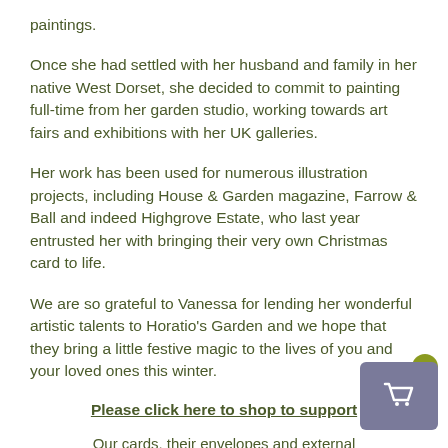paintings.
Once she had settled with her husband and family in her native West Dorset, she decided to commit to painting full-time from her garden studio, working towards art fairs and exhibitions with her UK galleries.
Her work has been used for numerous illustration projects, including House & Garden magazine, Farrow & Ball and indeed Highgrove Estate, who last year entrusted her with bringing their very own Christmas card to life.
We are so grateful to Vanessa for lending her wonderful artistic talents to Horatio's Garden and we hope that they bring a little festive magic to the lives of you and your loved ones this winter.
Please click here to shop to support
Our cards, their envelopes and external packaging made from chlorine-free, FSC certified paper. They are